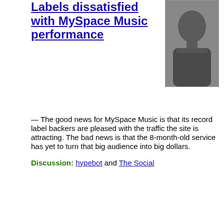Labels dissatisfied with MySpace Music performance
[Figure (photo): A headshot photo of a man in a dark sweater]
— The good news for MySpace Music is that its record label backers are pleased with the traffic the site is attracting. The bad news is that the 8-month-old service has yet to turn that big audience into big dollars.
Discussion: hypebot and The Social
Pete Barlas / Investor's Business Daily:
Google, Yahoo Find Mobile Ad Business A Whole New World
— When Glu Mobile launched an ad campaign in February to sell its wireless games, the company at first ran ads on five mobile Internet networks, including those managed by Google (GOOG) and Yahoo (YHOO).
[Figure (other): Archived page info banner with dark background and white italic text reading ARCHIVED PAGE INFO:]